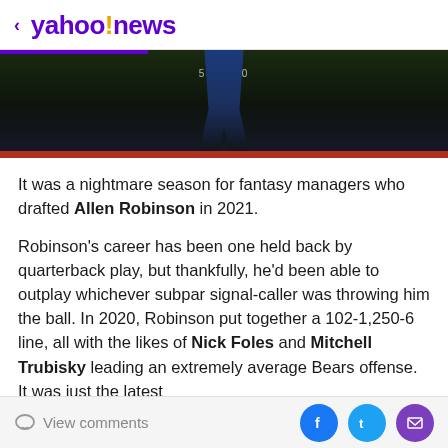< yahoo!news
[Figure (photo): Dark video player banner showing legs of a person on a sports field, with a score overlay '501-500' and colored bars]
It was a nightmare season for fantasy managers who drafted Allen Robinson in 2021.
Robinson's career has been one held back by quarterback play, but thankfully, he'd been able to outplay whichever subpar signal-caller was throwing him the ball. In 2020, Robinson put together a 102-1,250-6 line, all with the likes of Nick Foles and Mitchell Trubisky leading an extremely average Bears offense. It was just the latest
View comments